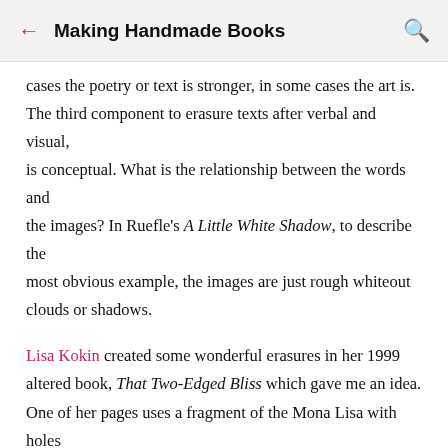Making Handmade Books
cases the poetry or text is stronger, in some cases the art is. The third component to erasure texts after verbal and visual, is conceptual. What is the relationship between the words and the images? In Ruefle's A Little White Shadow, to describe the most obvious example, the images are just rough whiteout clouds or shadows.
Lisa Kokin created some wonderful erasures in her 1999 altered book, That Two-Edged Bliss which gave me an idea. One of her pages uses a fragment of the Mona Lisa with holes cut out that highlight certain words beneath ("a sad little smile to add to a few all at once on our world"). Here are some b…